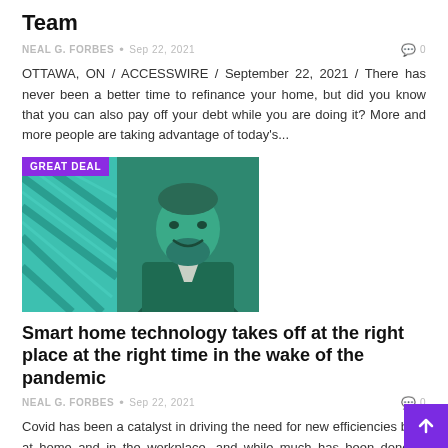Team
NEAL G. FORBES • Sep 22, 2021  0
OTTAWA, ON / ACCESSWIRE / September 22, 2021 / There has never been a better time to refinance your home, but did you know that you can also pay off your debt while you are doing it? More and more people are taking advantage of today's...
[Figure (photo): Composite image with a teal architectural photo on the left with a 'GREAT DEAL' badge and a greyscale/teal-tinted photo of a bearded man in a suit on the right]
Smart home technology takes off at the right place at the right time in the wake of the pandemic
NEAL G. FORBES • Sep 22, 2021  0
Covid has been a catalyst in driving the need for new efficiencies both at home and in the workplace, and while much has been done in digital design, the technological streamlining of the residential experience